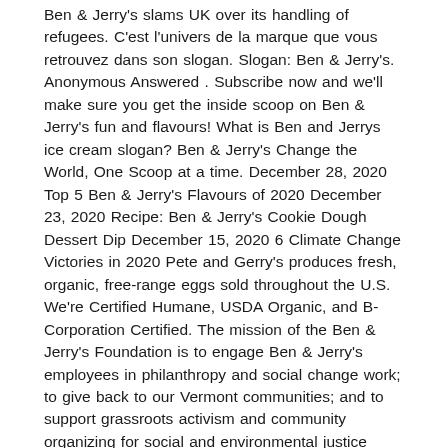Ben & Jerry's slams UK over its handling of refugees. C'est l'univers de la marque que vous retrouvez dans son slogan. Slogan: Ben & Jerry's. Anonymous Answered . Subscribe now and we'll make sure you get the inside scoop on Ben & Jerry's fun and flavours! What is Ben and Jerrys ice cream slogan? Ben & Jerry's Change the World, One Scoop at a time. December 28, 2020 Top 5 Ben & Jerry's Flavours of 2020 December 23, 2020 Recipe: Ben & Jerry's Cookie Dough Dessert Dip December 15, 2020 6 Climate Change Victories in 2020 Pete and Gerry's produces fresh, organic, free-range eggs sold throughout the U.S. We're Certified Humane, USDA Organic, and B-Corporation Certified. The mission of the Ben & Jerry's Foundation is to engage Ben & Jerry's employees in philanthropy and social change work; to give back to our Vermont communities; and to support grassroots activism and community organizing for social and environmental justice around the country. Unique Ben And Jerrys Posters designed and sold by artists. Asked by Wiki User. There are so many ways to enjoy Ben & Jerry's. Brands like Ben & Jerrys who are clearly trying to do good and take steps in the right